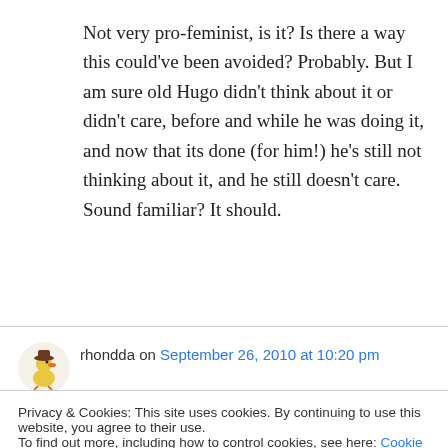Not very pro-feminist, is it? Is there a way this could've been avoided? Probably. But I am sure old Hugo didn't think about it or didn't care, before and while he was doing it, and now that its done (for him!) he's still not thinking about it, and he still doesn't care. Sound familiar? It should.
rhondda on September 26, 2010 at 10:20 pm
Privacy & Cookies: This site uses cookies. By continuing to use this website, you agree to their use. To find out more, including how to control cookies, see here: Cookie Policy
more those who read here will start to think for